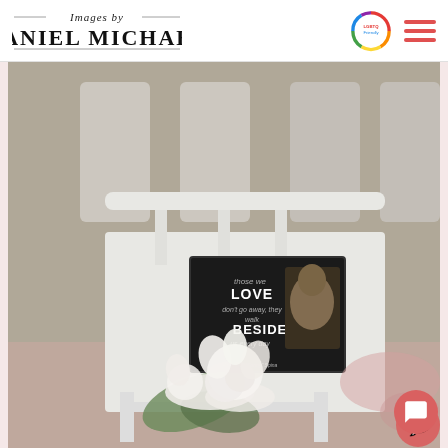Images by Daniel Michael — LGBTQ Friendly
[Figure (photo): Wedding ceremony photo: white folding chairs at an outdoor ceremony, with a memorial tribute on one chair — a framed photo of an elderly man with a bouquet of white roses and baby's breath placed in front of it. The framed photo has a dark background with text reading 'Those we LOVE don't go away, they walk BESIDE us every day'. The name at the bottom reads 'Raymond Sonny Spina'. Pink flower petals are scattered on the ground in the background.]